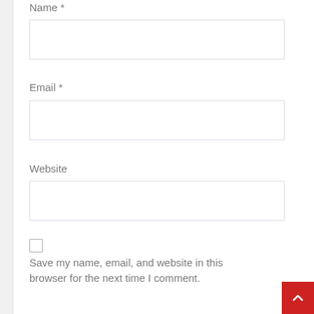Name *
[Figure (other): Empty text input box for Name field]
Email *
[Figure (other): Empty text input box for Email field]
Website
[Figure (other): Empty text input box for Website field]
[Figure (other): Checkbox (unchecked)]
Save my name, email, and website in this browser for the next time I comment.